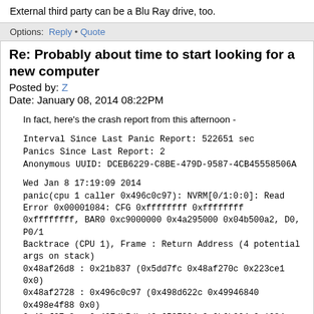External third party can be a Blu Ray drive, too.
Options: Reply • Quote
Re: Probably about time to start looking for a new computer
Posted by: Z
Date: January 08, 2014 08:22PM
In fact, here's the crash report from this afternoon -
Interval Since Last Panic Report: 522651 sec
Panics Since Last Report: 2
Anonymous UUID: DCEB6229-C8BE-479D-9587-4CB45558506A
Wed Jan 8 17:19:09 2014
panic(cpu 1 caller 0x496c0c97): NVRM[0/1:0:0]: Read Error 0x00001084: CFG 0xffffffff 0xffffffff 0xffffffff, BAR0 0xc9000000 0x4a295000 0x04b500a2, D0, P0/1
Backtrace (CPU 1), Frame : Return Address (4 potential args on stack)
0x48af26d8 : 0x21b837 (0x5dd7fc 0x48af270c 0x223ce1 0x0)
0x48af2728 : 0x496c0c97 (0x498d622c 0x49946840 0x498e4f88 0x0)
0x48af27c8 : 0x497db5db (0x6537804 0x6b6b004 0x1084 0x49660d97)
0x48af2818 : 0x4998a8f4 (0x6b6b004 0x1084 0x6400 0x73a9004)
0x48af2838 : 0x497fa23f (0x6b6b004 0x716c204 0x0 0x0)
0x48af2878 : 0x496c9e2b (0x6b6b004 0x6b5e004 0x0 0x0)
0x48af2918 : 0x496c6f59 (0x8 0x0 0x0 0x0)